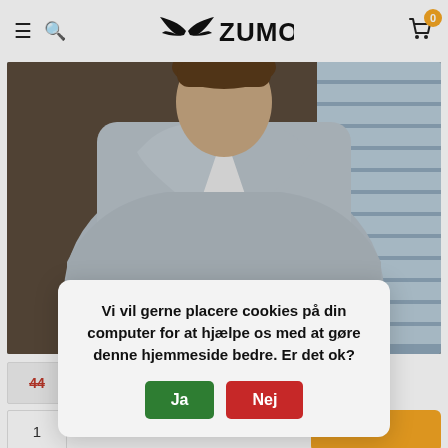[Figure (logo): Zumo brand logo with wing icon and ZUMO text]
[Figure (photo): Man wearing a grey button-up overshirt/jacket with white inner shirt, photographed from chest up against a dark industrial background with window blinds visible on the right]
44
1
Vi vil gerne placere cookies på din computer for at hjælpe os med at gøre denne hjemmeside bedre. Er det ok?
Ja
Nej